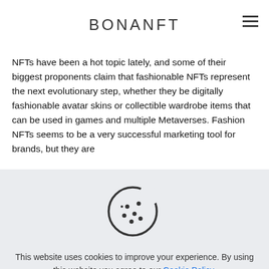BONANFT
NFTs have been a hot topic lately, and some of their biggest proponents claim that fashionable NFTs represent the next evolutionary step, whether they be digitally fashionable avatar skins or collectible wardrobe items that can be used in games and multiple Metaverses. Fashion NFTs seems to be a very successful marketing tool for brands, but they are
[Figure (illustration): Cookie icon — a round cookie with a bite taken out of the top-right, with chocolate chip dots scattered on its surface, drawn in a thin outline style on a light grey background.]
This website uses cookies to improve your experience. By using this website you agree to our Cookie Policy.
Read more
Accept all